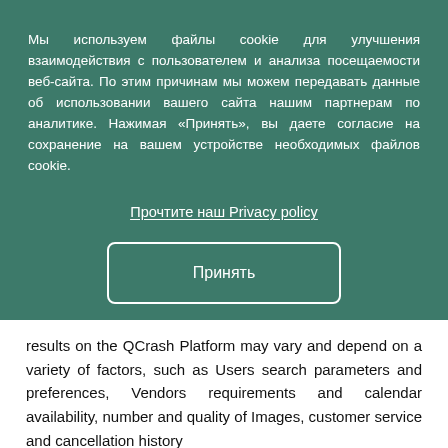Мы используем файлы cookie для улучшения взаимодействия с пользователем и анализа посещаемости веб-сайта. По этим причинам мы можем передавать данные об использовании вашего сайта нашим партнерам по аналитике. Нажимая «Принять», вы даете согласие на сохранение на вашем устройстве необходимых файлов cookie.
Прочтите наш Privacy policy
Принять
results on the QCrash Platform may vary and depend on a variety of factors, such as Users search parameters and preferences, Vendors requirements and calendar availability, number and quality of Images, customer service and cancellation history